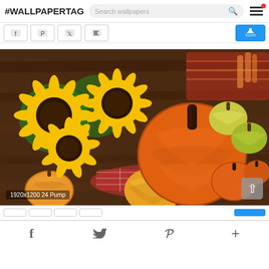#WALLPAPERTAG | Search wallpapers
[Figure (screenshot): Website header with site title #WALLPAPERTAG, search bar, and hamburger menu with red notification dot]
[Figure (screenshot): Social share buttons row (Facebook, Pinterest, Twitter, Flag) and a blue download button]
[Figure (photo): Autumn harvest photo showing sunflowers, orange pumpkins, and decorative gourds on a wooden table]
1920x1200 24 Pump
f (Facebook) | Twitter bird | Pinterest P | + (More)